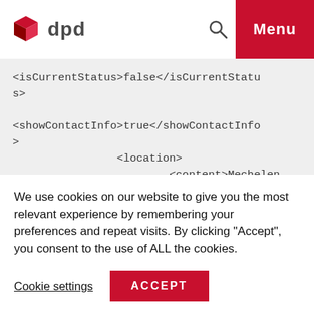dpd — Menu
[Figure (screenshot): XML code block showing: <isCurrentStatus>false</isCurrentStatus>

<showContactInfo>true</showContactInfo>
                <location>
                        <content>Mechelen (BE)</content>
                        <bold>true</bold>]
We use cookies on our website to give you the most relevant experience by remembering your preferences and repeat visits. By clicking "Accept", you consent to the use of ALL the cookies.
Cookie settings   ACCEPT